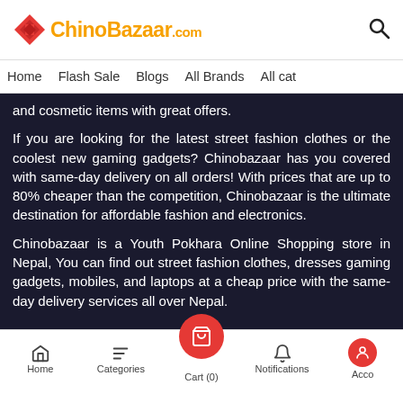ChinoBazaar.com
Home   Flash Sale   Blogs   All Brands   All cat
and cosmetic items with great offers.
If you are looking for the latest street fashion clothes or the coolest new gaming gadgets? Chinobazaar has you covered with same-day delivery on all orders! With prices that are up to 80% cheaper than the competition, Chinobazaar is the ultimate destination for affordable fashion and electronics.
Chinobazaar is a Youth Pokhara Online Shopping store in Nepal, You can find out street fashion clothes, dresses gaming gadgets, mobiles, and laptops at a cheap price with the same-day delivery services all over Nepal.
Home   Categories   Cart (0)   Notifications   Acco